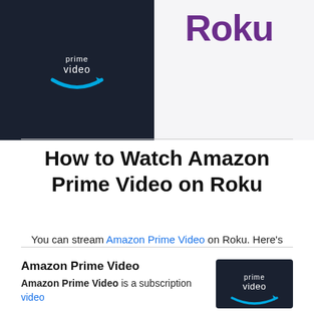[Figure (illustration): Top portion showing Amazon Prime Video logo on dark background on the left, and Roku logo in purple on a light background on the right]
How to Watch Amazon Prime Video on Roku
You can stream Amazon Prime Video on Roku. Here’s how to sign up, download, install, and start streaming Amazon Prime Video using your Roku. Learn how to get the most out of your Roku while using Amazon Prime Video.
Amazon Prime Video
Amazon Prime Video is a subscription video